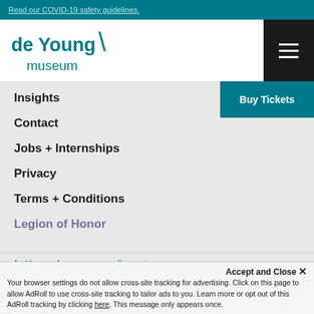Read our COVID-19 safety guidelines.
[Figure (logo): de Young museum logo with teal text and backslash graphic, plus hamburger menu icon on black background]
Insights
Contact
Jobs + Internships
Privacy
Terms + Conditions
Legion of Honor
de Young \ fine arts museum
Accept and Close ×
Your browser settings do not allow cross-site tracking for advertising. Click on this page to allow AdRoll to use cross-site tracking to tailor ads to you. Learn more or opt out of this AdRoll tracking by clicking here. This message only appears once.